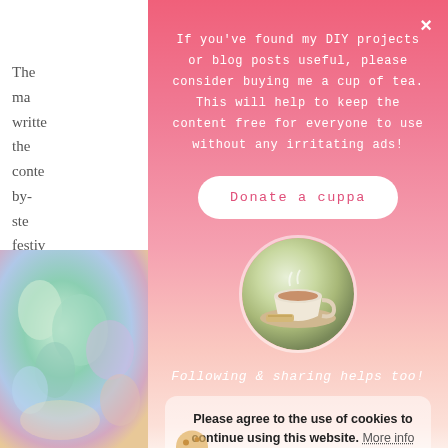The ma are written f the content step-by-step ne festive gorgeo cool knowing an test for fes
[Figure (photo): Photo of plants/flowers on the left side of the page background]
[Figure (illustration): Holly/Christmas decoration on the bottom right]
[Figure (screenshot): Pink gradient modal popup with donate/cookie consent UI overlay]
If you've found my DIY projects or blog posts useful, please consider buying me a cup of tea. This will help to keep the content free for everyone to use without any irritating ads!
Donate a cuppa
[Figure (photo): Circular photo of a cup of tea with biscuits on a saucer]
Following & sharing helps too!
Please agree to the use of cookies to continue using this website. More info
Accept